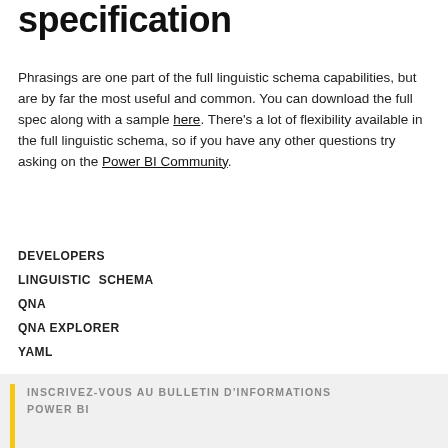specification
Phrasings are one part of the full linguistic schema capabilities, but are by far the most useful and common. You can download the full spec along with a sample here. There's a lot of flexibility available in the full linguistic schema, so if you have any other questions try asking on the Power BI Community.
DEVELOPERS
LINGUISTIC SCHEMA
QNA
QNA EXPLORER
YAML
INSCRIVEZ-VOUS AU BULLETIN D'INFORMATIONS POWER BI